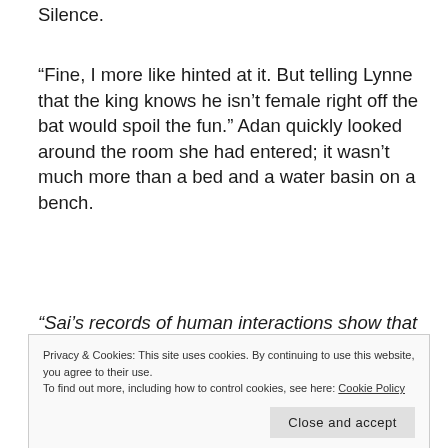Silence.
“Fine, I more like hinted at it. But telling Lynne that the king knows he isn’t female right off the bat would spoil the fun.” Adan quickly looked around the room she had entered; it wasn’t much more than a bed and a water basin on a bench.
“Sai’s records of human interactions show that others of your species would call your behavior insufferable.”
Privacy & Cookies: This site uses cookies. By continuing to use this website, you agree to their use.
To find out more, including how to control cookies, see here: Cookie Policy
Close and accept